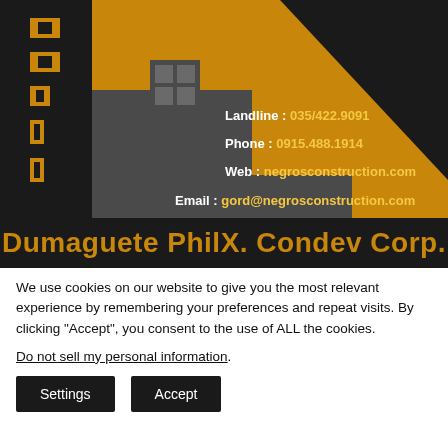[Figure (logo): Dumaguete PhilX Condev Corp logo with building silhouette, triangle ruler, and contact information: Landline: 035/422.9091, Phone: 0915.488.1914, Web: negrosconstruction.com, Email: gord@negrosconstruction.com]
Dumaguete PhilX. Condev Corp.
We use cookies on our website to give you the most relevant experience by remembering your preferences and repeat visits. By clicking “Accept”, you consent to the use of ALL the cookies.
Do not sell my personal information.
Settings   Accept